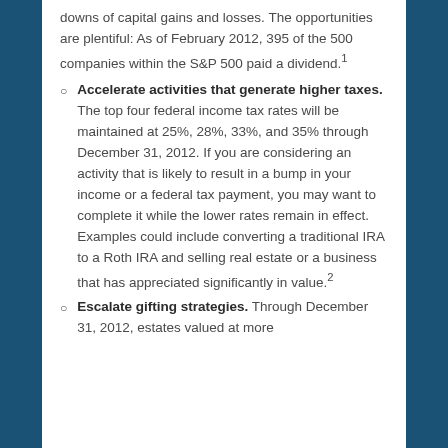downs of capital gains and losses. The opportunities are plentiful: As of February 2012, 395 of the 500 companies within the S&P 500 paid a dividend.¹
Accelerate activities that generate higher taxes. The top four federal income tax rates will be maintained at 25%, 28%, 33%, and 35% through December 31, 2012. If you are considering an activity that is likely to result in a bump in your income or a federal tax payment, you may want to complete it while the lower rates remain in effect. Examples could include converting a traditional IRA to a Roth IRA and selling real estate or a business that has appreciated significantly in value.²
Escalate gifting strategies. Through December 31, 2012, estates valued at more